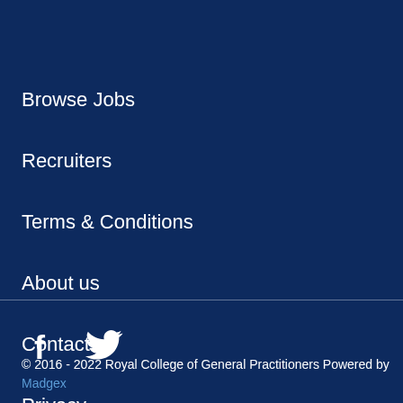Browse Jobs
Recruiters
Terms & Conditions
About us
Contact us
Privacy
[Figure (other): Facebook and Twitter social media icons in white]
© 2016 - 2022 Royal College of General Practitioners Powered by Madgex